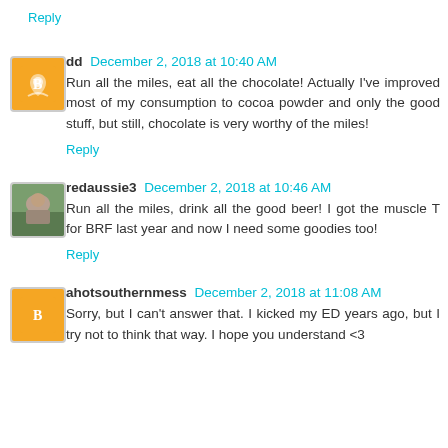Reply
dd December 2, 2018 at 10:40 AM
Run all the miles, eat all the chocolate! Actually I've improved most of my consumption to cocoa powder and only the good stuff, but still, chocolate is very worthy of the miles!
Reply
redaussie3 December 2, 2018 at 10:46 AM
Run all the miles, drink all the good beer! I got the muscle T for BRF last year and now I need some goodies too!
Reply
ahotsouthernmess December 2, 2018 at 11:08 AM
Sorry, but I can't answer that. I kicked my ED years ago, but I try not to think that way. I hope you understand <3